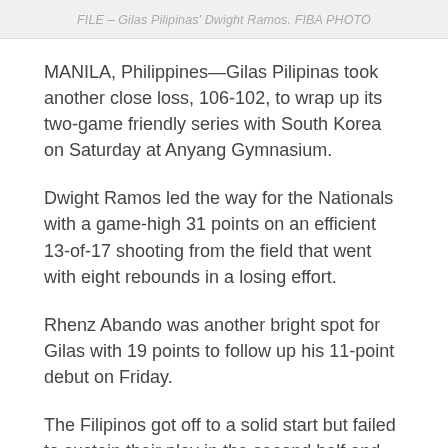FILE – Gilas Pilipinas' Dwight Ramos. FIBA PHOTO
MANILA, Philippines—Gilas Pilipinas took another close loss, 106-102, to wrap up its two-game friendly series with South Korea on Saturday at Anyang Gymnasium.
Dwight Ramos led the way for the Nationals with a game-high 31 points on an efficient 13-of-17 shooting from the field that went with eight rebounds in a losing effort.
Rhenz Abando was another bright spot for Gilas with 19 points to follow up his 11-point debut on Friday.
The Filipinos got off to a solid start but failed to sustain their play in the second half and were outscored 35-21 in the third quarter.
PJ Aborrientos also showed out for Gilas with 17 while Carl